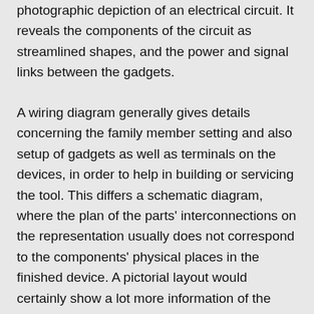photographic depiction of an electrical circuit. It reveals the components of the circuit as streamlined shapes, and the power and signal links between the gadgets.
A wiring diagram generally gives details concerning the family member setting and also setup of gadgets as well as terminals on the devices, in order to help in building or servicing the tool. This differs a schematic diagram, where the plan of the parts' interconnections on the representation usually does not correspond to the components' physical places in the finished device. A pictorial layout would certainly show a lot more information of the physical look, whereas a wiring diagram utilizes a more symbolic symbols to highlight affiliations over physical appearance.
A wiring diagram is usually made use of to repair issues